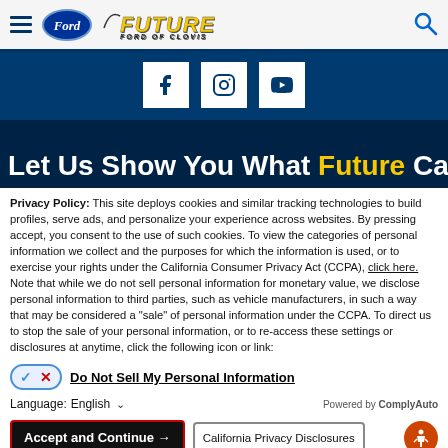Future Ford of Clovis – site header with navigation hamburger, Ford oval logo, Future Ford of Clovis logo, and search icon
[Figure (infographic): Dark blue social media bar with Facebook, Instagram, and YouTube icons in white squares]
Let Us Show You What Future Can
Privacy Policy: This site deploys cookies and similar tracking technologies to build profiles, serve ads, and personalize your experience across websites. By pressing accept, you consent to the use of such cookies. To view the categories of personal information we collect and the purposes for which the information is used, or to exercise your rights under the California Consumer Privacy Act (CCPA), click here. Note that while we do not sell personal information for monetary value, we disclose personal information to third parties, such as vehicle manufacturers, in such a way that may be considered a "sale" of personal information under the CCPA. To direct us to stop the sale of your personal information, or to re-access these settings or disclosures at anytime, click the following icon or link:
Do Not Sell My Personal Information
Language: English   ∨   Powered by ComplyAuto
Accept and Continue →   California Privacy Disclosures